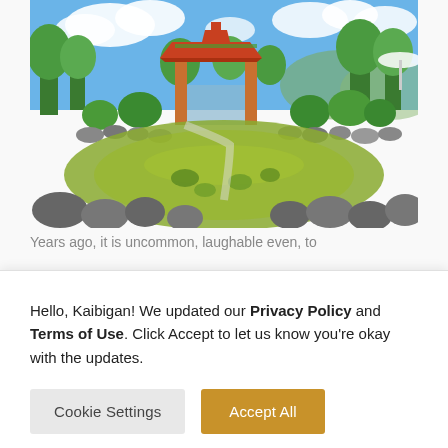[Figure (photo): Chinese garden with traditional pavilion gate, lily pond with greenish water, trimmed shrubs, rocks, and blue sky with clouds]
Years ago, it is uncommon, laughable even, to
Hello, Kaibigan! We updated our Privacy Policy and Terms of Use. Click Accept to let us know you're okay with the updates.